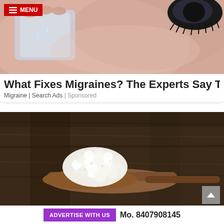[Figure (photo): Close-up photo of a person holding an ice cube against their face near the eye area, with skin visible and an eye with dark eyelashes in the upper right]
≡ MENU
What Fixes Migraines? The Experts Say This
Migraine | Search Ads | Sponsored
[Figure (photo): Close-up photo of white chunky curds (resembling cauliflower or kefir grains) on a dark wooden spoon against a rustic wooden background]
ADVERTISE WITH US  Mo. 8407908145